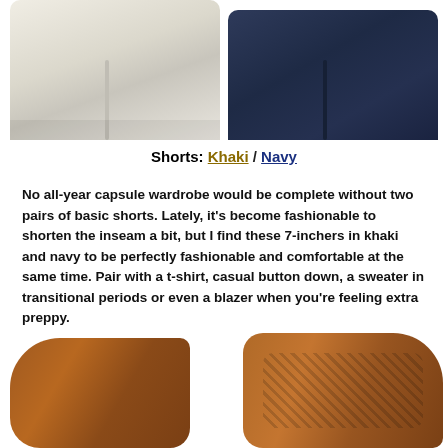[Figure (photo): Two pairs of shorts — khaki (light beige/cream) on the left and navy blue on the right — shown from the waist down, cropped at the top of the page.]
Shorts: Khaki / Navy
No all-year capsule wardrobe would be complete without two pairs of basic shorts. Lately, it's become fashionable to shorten the inseam a bit, but I find these 7-inchers in khaki and navy to be perfectly fashionable and comfortable at the same time. Pair with a t-shirt, casual button down, a sweater in transitional periods or even a blazer when you're feeling extra preppy.
[Figure (photo): Two brown leather shoes/sandals shown at the bottom of the page — a simpler sandal on the lower left and a woven/huarache-style shoe on the lower right.]